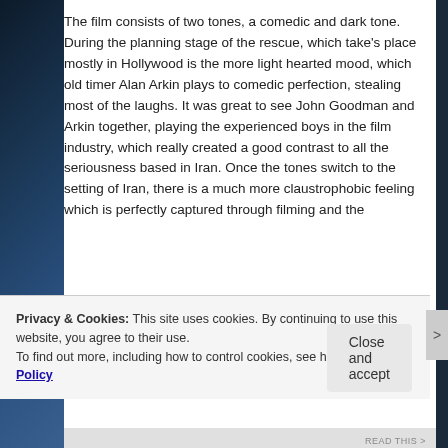The film consists of two tones, a comedic and dark tone. During the planning stage of the rescue, which take's place mostly in Hollywood is the more light hearted mood, which old timer Alan Arkin plays to comedic perfection, stealing most of the laughs. It was great to see John Goodman and Arkin together, playing the experienced boys in the film industry, which really created a good contrast to all the seriousness based in Iran. Once the tones switch to the setting of Iran, there is a much more claustrophobic feeling which is perfectly captured through filming and the
Privacy & Cookies: This site uses cookies. By continuing to use this website, you agree to their use.
To find out more, including how to control cookies, see here: Cookie Policy
Close and accept